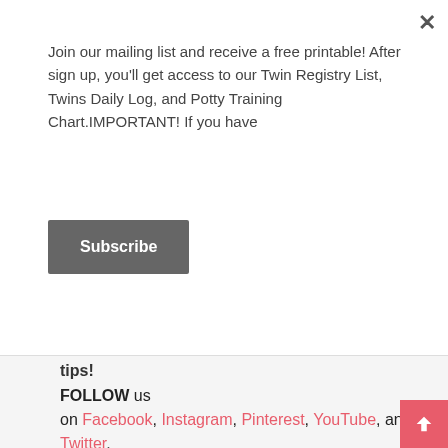Join our mailing list and receive a free printable! After sign up, you'll get access to our Twin Registry List, Twins Daily Log, and Potty Training Chart.IMPORTANT! If you have
Subscribe
tips!
FOLLOW us on Facebook, Instagram, Pinterest, YouTube, and Twitter.